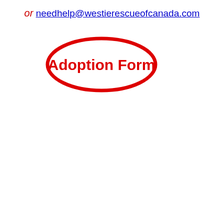or needhelp@westierescueofcanada.com
[Figure (other): Red oval/ellipse outline enclosing bold red text 'Adoption Form']